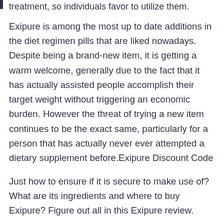treatment, so individuals favor to utilize them.
Exipure is among the most up to date additions in the diet regimen pills that are liked nowadays. Despite being a brand-new item, it is getting a warm welcome, generally due to the fact that it has actually assisted people accomplish their target weight without triggering an economic burden. However the threat of trying a new item continues to be the exact same, particularly for a person that has actually never ever attempted a dietary supplement before.Exipure Discount Code
Just how to ensure if it is secure to make use of? What are its ingredients and where to buy Exipure? Figure out all in this Exipure review.